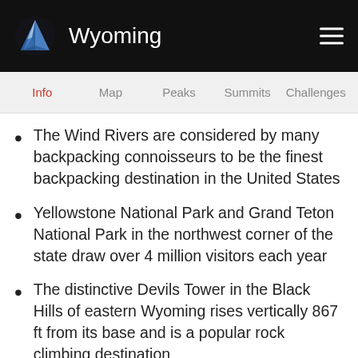Wyoming
The Wind Rivers are considered by many backpacking connoisseurs to be the finest backpacking destination in the United States
Yellowstone National Park and Grand Teton National Park in the northwest corner of the state draw over 4 million visitors each year
The distinctive Devils Tower in the Black Hills of eastern Wyoming rises vertically 867 ft from its base and is a popular rock climbing destination